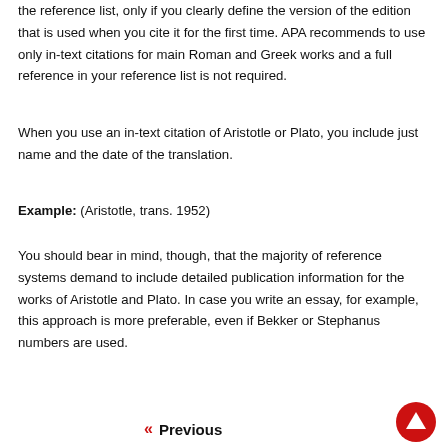the reference list, only if you clearly define the version of the edition that is used when you cite it for the first time. APA recommends to use only in-text citations for main Roman and Greek works and a full reference in your reference list is not required.
When you use an in-text citation of Aristotle or Plato, you include just name and the date of the translation.
Example: (Aristotle, trans. 1952)
You should bear in mind, though, that the majority of reference systems demand to include detailed publication information for the works of Aristotle and Plato. In case you write an essay, for example, this approach is more preferable, even if Bekker or Stephanus numbers are used.
« Previous